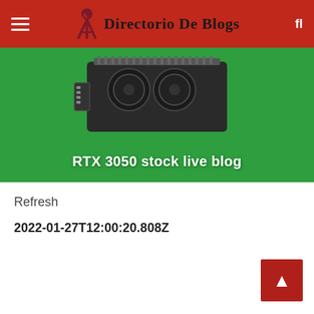Directorio De Blogs
[Figure (photo): RTX 3050 graphics card on green background with text overlay 'RTX 3050 stock live blog']
Refresh
2022-01-27T12:00:20.808Z